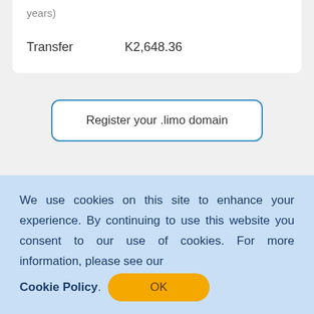| Transfer | K2,648.36 |
Register your .limo domain
We use cookies on this site to enhance your experience. By continuing to use this website you consent to our use of cookies. For more information, please see our Cookie Policy. OK